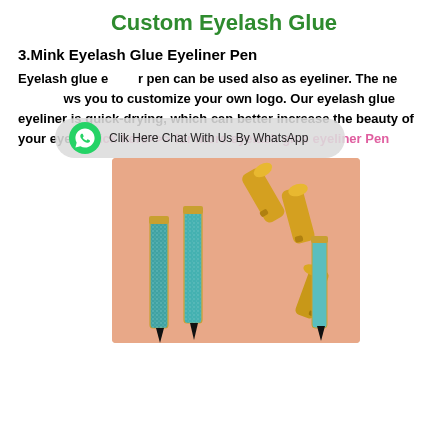Custom Eyelash Glue
3.Mink Eyelash Glue Eyeliner Pen
Eyelash glue eyeliner pen can be used also as eyeliner. The new design allows you to customize your own logo. Our eyelash glue eyeliner is quick-drying, which can better increase the beauty of your eyes. Click here>>> for more eyelash glue eyeliner Pen
[Figure (photo): Photo of multiple gold and teal glitter eyelash glue eyeliner pens with open caps on a pink background]